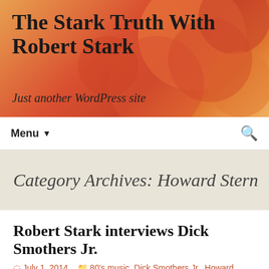The Stark Truth With Robert Stark
Just another WordPress site
Menu
Category Archives: Howard Stern
Robert Stark interviews Dick Smothers Jr.
July 1, 2014   80's music, Dick Smothers Jr., Howard Stern, Luke Ford, Max Hardcore, missogyny, Music, Narcissism, Pornography, Sexuality, Soft Core Porn, The Porn Industry, The Smothers Brothers